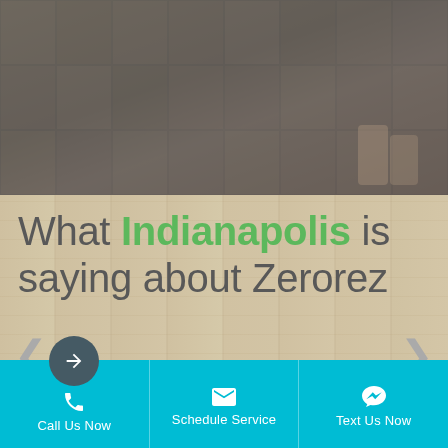[Figure (photo): Dark overhead photo of floor tiles/flooring with semi-transparent dark overlay, top section of webpage]
What Indianapolis is saying about Zerorez
[Figure (logo): The Carpet and Rug Institute Seal of Approval circular badge with green background and white ornate logo, carpet-rug.org]
Call Us Now  |  Schedule Service  |  Text Us Now